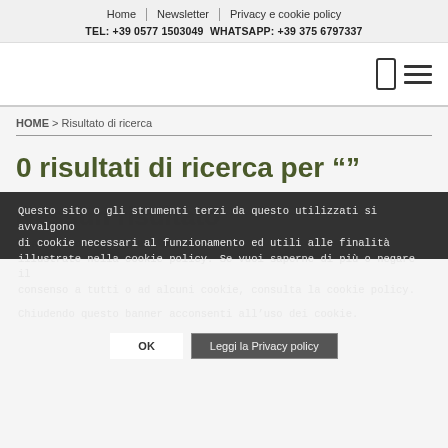Home | Newsletter | Privacy e cookie policy
TEL: +39 0577 1503049 WHATSAPP: +39 375 6797337
HOME > Risultato di ricerca
0 risultati di ricerca per ""
Nessun risultato
Non ci sono risultati per i filtri scelti
Questo sito o gli strumenti terzi da questo utilizzati si avvalgono di cookie necessari al funzionamento ed utili alle finalità illustrate nella cookie policy. Se vuoi saperne di più o negare il consenso a tutti o ad alcuni cookie, consulta la cookie policy.
Chiudendo questo banner acconsenti all'uso dei cookie.
OK | Leggi la Privacy policy